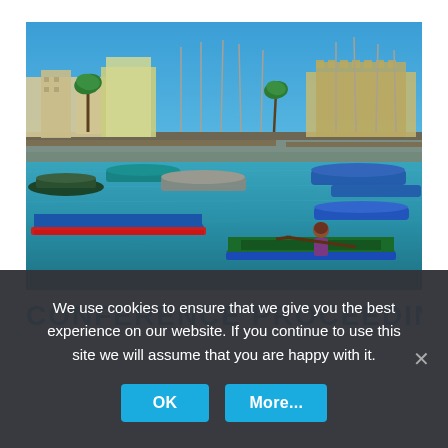[Figure (photo): Harbor scene with colorful boats (blue, green, red) moored in calm blue-green water. A person rows a traditional wooden boat in the foreground. Background shows a Mediterranean-style waterfront with buildings, palm trees, and a fortress or castle. Blue sky and sailboat masts visible.]
CONFERENCE PROCEEDINGS
We use cookies to ensure that we give you the best experience on our website. If you continue to use this site we will assume that you are happy with it.
OK
More...